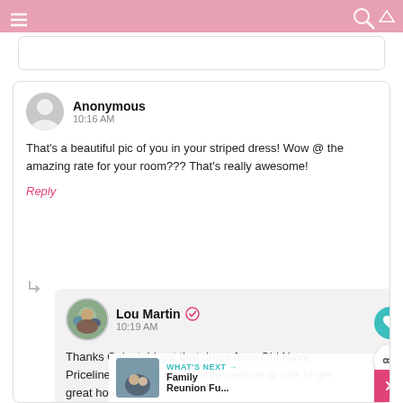[Figure (screenshot): Pink navigation bar at top of page]
Anonymous
10:16 AM
That's a beautiful pic of you in your striped dress! Wow @ the amazing rate for your room??? That's really awesome!
Reply
Lou Martin
10:19 AM
Thanks Celeste! I got that dress from Old Navy. Priceline is always my favorite website to use to get great hotel